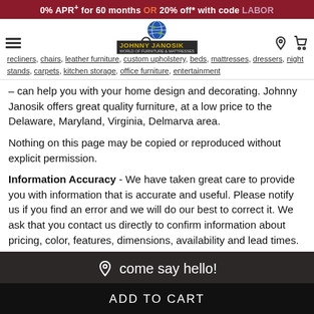0% APR+ for 60 months OR 20% off* with code LABOR
[Figure (logo): Johnny Janosik World of Furniture & Mattresses logo with globe graphic]
recliners, chairs, leather furniture, custom upholstery, beds, mattresses, dressers, night stands, carpets, kitchen storage, office furniture, entertainment – can help you with your home design and decorating. Johnny Janosik offers great quality furniture, at a low price to the Delaware, Maryland, Virginia, Delmarva area.
Nothing on this page may be copied or reproduced without explicit permission.
Information Accuracy - We have taken great care to provide you with information that is accurate and useful. Please notify us if you find an error and we will do our best to correct it. We ask that you contact us directly to confirm information about pricing, color, features, dimensions, availability and lead times.
come say hello!
VIEW ALL LOCATIONS
LAUREL, DELAWARE
DOVER, DELAWARE
ADD TO CART